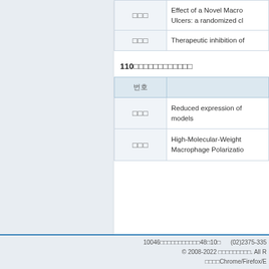| 번호 | 제목 |
| --- | --- |
| □□□ | Effect of a Novel Macro… Ulcers: a randomized cl… |
| □□□ | Therapeutic inhibition of… |
110□□□□□□□□□□□□
| 번호 |  |
| --- | --- |
| □□□ | Reduced expression of … models |
| □□□ | High-Molecular-Weight … Macrophage Polarizatio… |
10046□□□□□□□□□□□48□10□   (02)2375-335… © 2008-2022 □□□□□□□□□. All R… □□□□Chrome/Firefox/E…